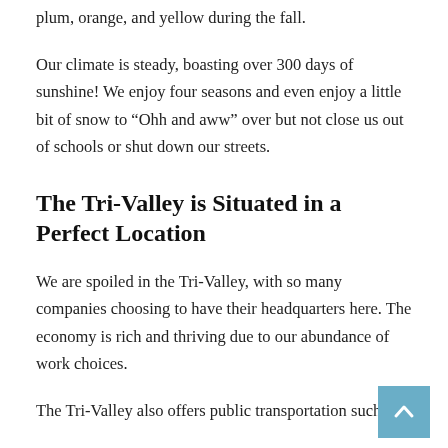plum, orange, and yellow during the fall.
Our climate is steady, boasting over 300 days of sunshine! We enjoy four seasons and even enjoy a little bit of snow to “Ohh and aww” over but not close us out of schools or shut down our streets.
The Tri-Valley is Situated in a Perfect Location
We are spoiled in the Tri-Valley, with so many companies choosing to have their headquarters here. The economy is rich and thriving due to our abundance of work choices.
The Tri-Valley also offers public transportation such